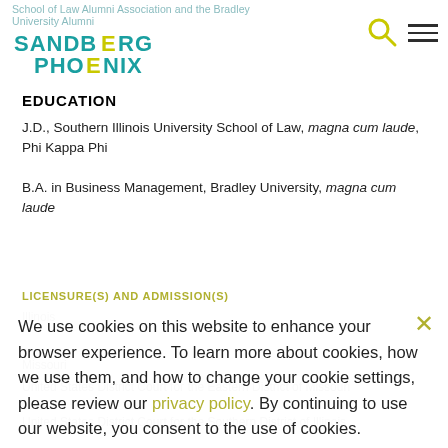School of Law Alumni Association and the Bradley University Alumni
[Figure (logo): Sandberg Phoenix logo — teal/green stylized text reading SANDBERG PHOENIX]
EDUCATION
J.D., Southern Illinois University School of Law, magna cum laude, Phi Kappa Phi
B.A. in Business Management, Bradley University, magna cum laude
LICENSURE(S) AND ADMISSION(S)
Illinois
Missouri
United States District Court for the Eastern District of Missouri
United States District Court for the Southern District of Illinois
We use cookies on this website to enhance your browser experience. To learn more about cookies, how we use them, and how to change your cookie settings, please review our privacy policy. By continuing to use our website, you consent to the use of cookies.